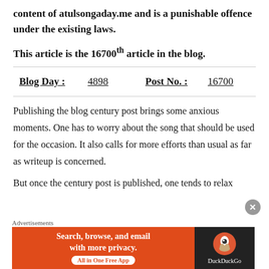content of atulsongaday.me and is a punishable offence under the existing laws.
This article is the 16700th article in the blog.
| Blog Day : |  | Post No. : |  |
| --- | --- | --- | --- |
| Blog Day : | 4898 | Post No. : | 16700 |
Publishing the blog century post brings some anxious moments. One has to worry about the song that should be used for the occasion. It also calls for more efforts than usual as far as writeup is concerned.
But once the century post is published, one tends to relax
[Figure (screenshot): DuckDuckGo advertisement banner: orange left panel with text 'Search, browse, and email with more privacy. All in One Free App' and dark right panel with DuckDuckGo duck logo.]